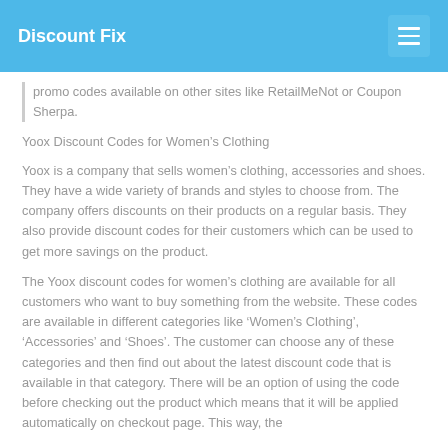Discount Fix
promo codes available on other sites like RetailMeNot or Coupon Sherpa.
Yoox Discount Codes for Women’s Clothing
Yoox is a company that sells women’s clothing, accessories and shoes. They have a wide variety of brands and styles to choose from. The company offers discounts on their products on a regular basis. They also provide discount codes for their customers which can be used to get more savings on the product.
The Yoox discount codes for women’s clothing are available for all customers who want to buy something from the website. These codes are available in different categories like ‘Women’s Clothing’, ‘Accessories’ and ‘Shoes’. The customer can choose any of these categories and then find out about the latest discount code that is available in that category. There will be an option of using the code before checking out the product which means that it will be applied automatically on checkout page. This way, the
Yoox Discount Codes for Men’s Clothing